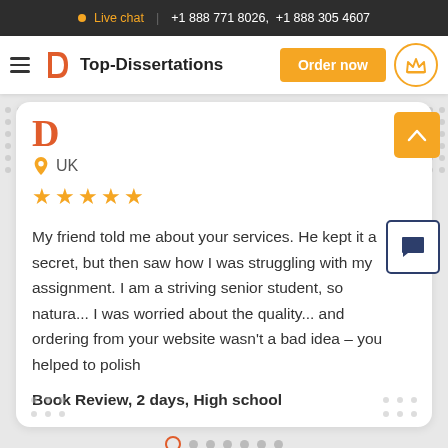Live chat  |  +1 888 771 8026,  +1 888 305 4607
[Figure (logo): Top-Dissertations logo with hamburger menu, Order now button, and crown icon]
UK
[Figure (infographic): Five orange/gold star rating]
My friend told me about your services. He kept it a secret, but then saw how I was struggling with my assignment. I am a striving senior student, so natura... I was worried about the quality... and ordering from your website wasn't a bad idea – you helped to polish
Book Review, 2 days, High school